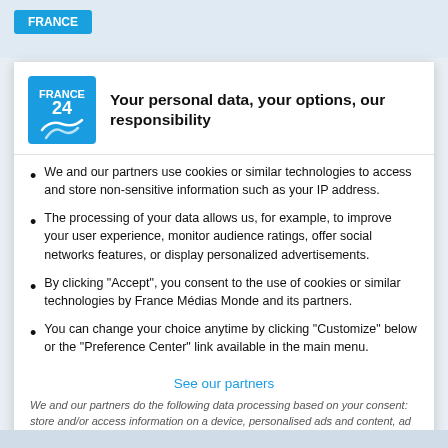[Figure (logo): France 24 logo — blue square with white text FRANCE 24 and circular wave graphic]
Your personal data, your options, our responsibility
We and our partners use cookies or similar technologies to access and store non-sensitive information such as your IP address.
The processing of your data allows us, for example, to improve your user experience, monitor audience ratings, offer social networks features, or display personalized advertisements.
By clicking "Accept", you consent to the use of cookies or similar technologies by France Médias Monde and its partners.
You can change your choice anytime by clicking "Customize" below or the "Preference Center" link available in the main menu.
See our partners
We and our partners do the following data processing based on your consent:  store and/or access information on a device, personalised ads and content, ad and content measurement, audience insights and product development